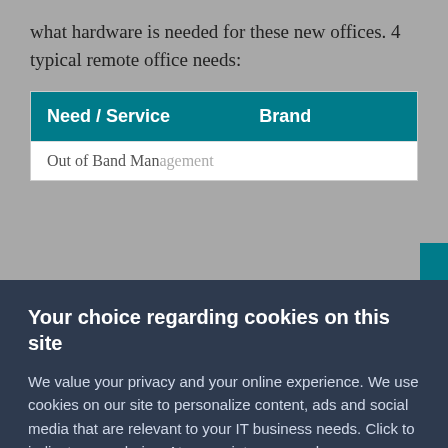what hardware is needed for these new offices. 4 typical remote office needs:
| Need / Service | Brand |
| --- | --- |
| Out of Band Management |  |
Your choice regarding cookies on this site
We value your privacy and your online experience. We use cookies on our site to personalize content, ads and social media that are relevant to your IT business needs. Click to indicate your choice. At any point you can change your mind and update your preferences. For more information visit our Privacy Policy.
Accept
I Do Not Accept Cookies
Other Options
×